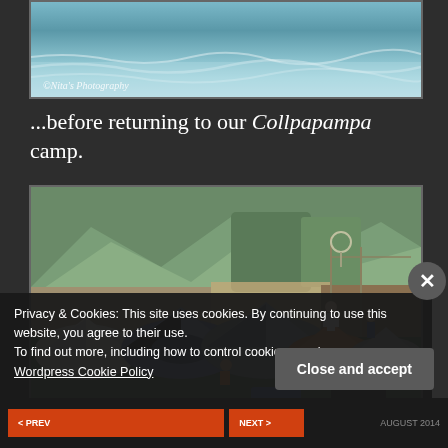[Figure (photo): Top portion of a photo showing water/rapids scene with watermark '©Nita's Photography' in bottom left]
...before returning to our Collpapampa camp.
[Figure (photo): Photo of a camping area called Collpapampa camp with multiple dome tents pitched on grass, mountains and trees visible in background, several people visible]
Privacy & Cookies: This site uses cookies. By continuing to use this website, you agree to their use.
To find out more, including how to control cookies, see here: Wordpress Cookie Policy